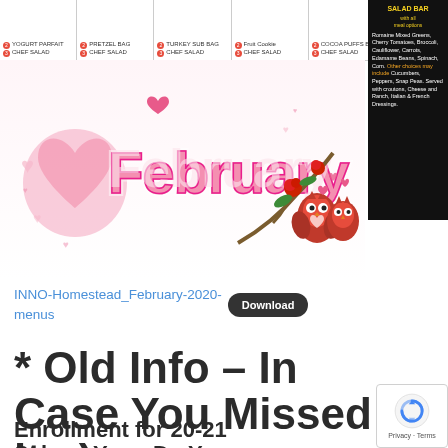[Figure (other): Top menu strip showing school lunch menu items with red circle icons, including entries like YOGURT PARFAIT, CHEF SALAD, PRETZEL BAG, TURKEY SUB BAG, CHEF SALAD, FRUIT COOKIE, COCOA PUFFS BAG, and a side black salad bar panel listing Romaine Mixed Greens, Cherry Tomatoes, Broccoli, Cauliflower, Carrots, Edamame Beans, Spinach, Corn and dressings]
[Figure (illustration): February Valentine's Day themed illustration with pink text 'February' surrounded by hearts, and two cute red owl decorations sitting on a branch with roses]
INNO-Homestead_February-2020-menus  Download
* Old Info – In Case You Missed it =)
Enrollment for 20-21 School Year: Do You